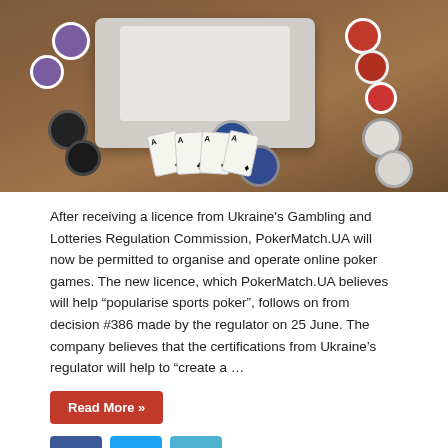[Figure (photo): Overhead photo of a laptop with poker chips (purple, black, blue, red, white) and playing cards on a wooden table]
After receiving a licence from Ukraine's Gambling and Lotteries Regulation Commission, PokerMatch.UA will now be permitted to organise and operate online poker games. The new licence, which PokerMatch.UA believes will help “popularise sports poker”, follows on from decision #386 made by the regulator on 25 June. The company believes that the certifications from Ukraine’s regulator will help to “create a …
Read More »
[Figure (logo): BetConstruct logo on purple/magenta background with white bold text reading BETCONSTRUCT]